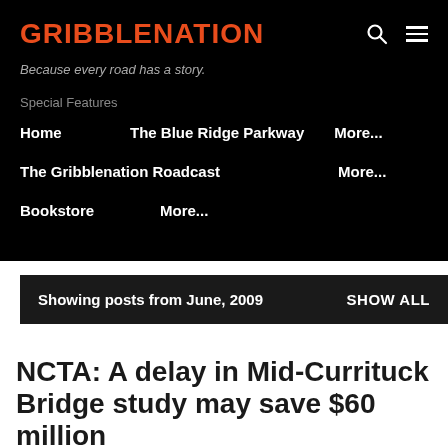GRIBBLENATION
Because every road has a story.
Special Features
Home    The Blue Ridge Parkway    More...
The Gribblenation Roadcast    More...
Bookstore    More...
Showing posts from June, 2009    SHOW ALL
NCTA: A delay in Mid-Currituck Bridge study may save $60 million